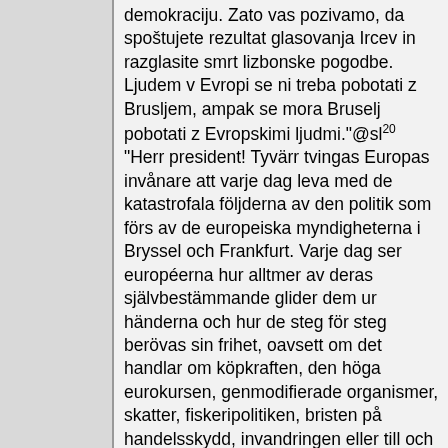demokraciju. Zato vas pozivamo, da spoštujete rezultat glasovanja Ircev in razglasite smrt lizbonske pogodbe. Ljudem v Evropi se ni treba pobotati z Brusljem, ampak se mora Bruselj pobotati z Evropskimi ljudmi."@sl²⁰ "Herr president! Tyvärr tvingas Europas invånare att varje dag leva med de katastrofala följderna av den politik som förs av de europeiska myndigheterna i Bryssel och Frankfurt. Varje dag ser européerna hur alltmer av deras självbestämmande glider dem ur händerna och hur de steg för steg berövas sin frihet, oavsett om det handlar om köpkraften, den höga eurokursen, genmodifierade organismer, skatter, fiskeripolitiken, bristen på handelsskydd, invandringen eller till och med fotbollen, som ni själv nämnde för en liten stund sedan. Allting glider dem ur